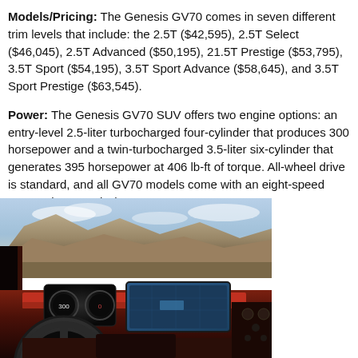Models/Pricing: The Genesis GV70 comes in seven different trim levels that include: the 2.5T ($42,595), 2.5T Select ($46,045), 2.5T Advanced ($50,195), 21.5T Prestige ($53,795), 3.5T Sport ($54,195), 3.5T Sport Advance ($58,645), and 3.5T Sport Prestige ($63,545).
Power: The Genesis GV70 SUV offers two engine options: an entry-level 2.5-liter turbocharged four-cylinder that produces 300 horsepower and a twin-turbocharged 3.5-liter six-cylinder that generates 395 horsepower at 406 lb-ft of torque. All-wheel drive is standard, and all GV70 models come with an eight-speed automatic transmission.
[Figure (photo): Interior view of the Genesis GV70 from the driver's perspective, showing the red leather interior, steering wheel with Genesis logo, digital instrument cluster, large infotainment screen, and a mountainous landscape visible through the windshield.]